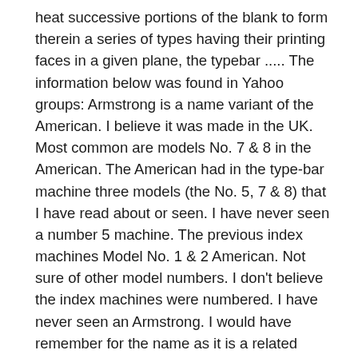heat successive portions of the blank to form therein a series of types having their printing faces in a given plane, the typebar ..... The information below was found in Yahoo groups: Armstrong is a name variant of the American. I believe it was made in the UK. Most common are models No. 7 & 8 in the American. The American had in the type-bar machine three models (the No. 5, 7 & 8) that I have read about or seen. I have never seen a number 5 machine. The previous index machines Model No. 1 & 2 American. Not sure of other model numbers. I don't believe the index machines were numbered. I have never seen an Armstrong. I would have remember for the name as it is a related family name. The earliest ad I have for the American Type-bar machine is from McClure's Nov. 1901, price $40.00, Broadway, New York. Shows a model number on the front edge of the top but can't make out a